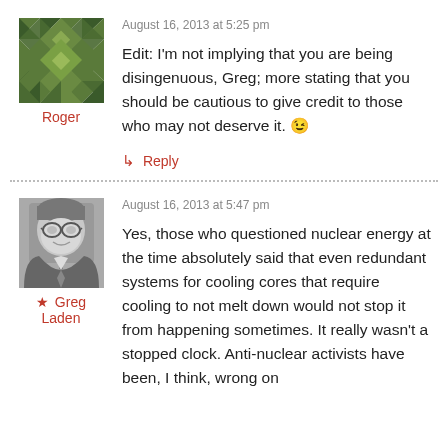August 16, 2013 at 5:25 pm
Edit: I'm not implying that you are being disingenuous, Greg; more stating that you should be cautious to give credit to those who may not deserve it. 😉
Roger
↳ Reply
August 16, 2013 at 5:47 pm
Yes, those who questioned nuclear energy at the time absolutely said that even redundant systems for cooling cores that require cooling to not melt down would not stop it from happening sometimes. It really wasn't a stopped clock. Anti-nuclear activists have been, I think, wrong on
★ Greg Laden